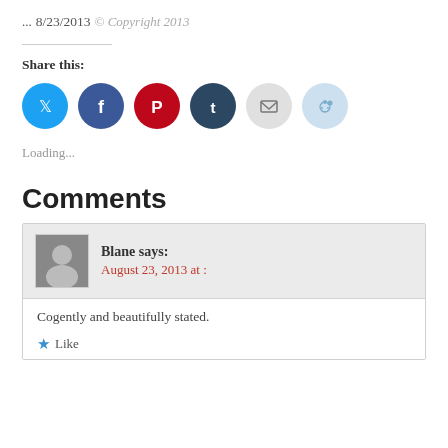...
8/23/2013
© Copyright 2013
Share this:
[Figure (infographic): Social share buttons: Twitter (blue), Facebook (blue), Pinterest (red), Tumblr (dark blue), Email (grey), Reddit (light blue)]
Loading...
Comments
Blane says: August 23, 2013 at :
Cogently and beautifully stated.
Like